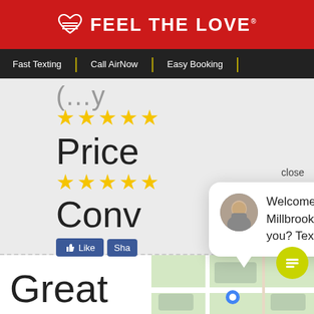[Figure (logo): Feel The Love logo with heart icon on red background header]
Fast Texting | Call AirNow | Easy Booking
[Figure (screenshot): Review section showing partial heading, 5-star ratings for Price and Convienience, Like and Share buttons]
[Figure (other): Chat popup bubble with agent avatar saying: Welcome to AirNow in Millbrook Al. How can we help you? Text us!]
Welcome to AirNow in Millbrook Al. How can we help you? Text us!
[Figure (map): Google Maps thumbnail in bottom right corner]
Great